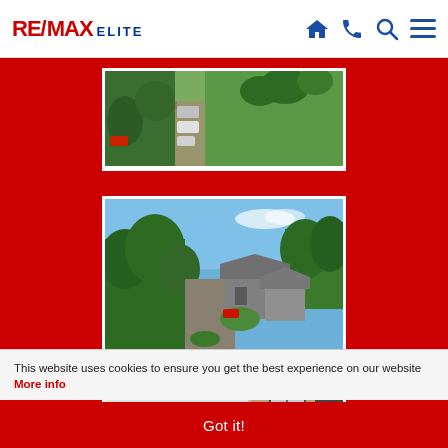RE/MAX ELITE - navigation header with home, phone, search, menu icons
[Figure (photo): Aerial view of property grounds showing parked vehicles, driveway, green lawn and trees]
[Figure (photo): Aerial view of residential property with stone cottages, driveway, surrounded by dense green trees under blue sky]
[Figure (photo): Interior photo showing a bright room with white walls and wooden floor glimpsed through doorway]
This website uses cookies to ensure you get the best experience on our website More info
Got it!